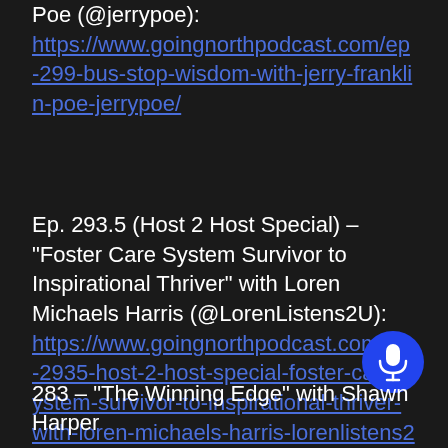Poe (@jerrypoe): https://www.goingnorthpodcast.com/ep-299-bus-stop-wisdom-with-jerry-franklin-poe-jerrypoe/
Ep. 293.5 (Host 2 Host Special) – "Foster Care System Survivor to Inspirational Thriver" with Loren Michaels Harris (@LorenListens2U): https://www.goingnorthpodcast.com/ep-2935-host-2-host-special-foster-care-system-survivor-to-inspirational-thriver-with-loren-michaels-harris-lorenlistens2u/
283 – "The Winning Edge" with Shawn Harper